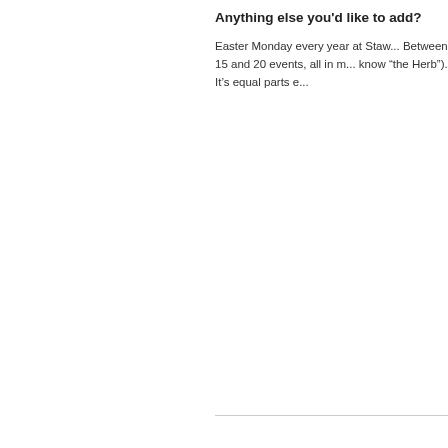Anything else you'd like to add?
Easter Monday every year at Staw... Between 15 and 20 events, all in m... know “the Herb”). It’s equal parts e...
Comments are closed.
[Figure (logo): Powercor Australia logo - white on dark background]
[Figure (logo): Victoria state government logo - white stylized V triangle]
[Figure (logo): Northern Grampians Shire Council logo - white on dark background]
© 2016